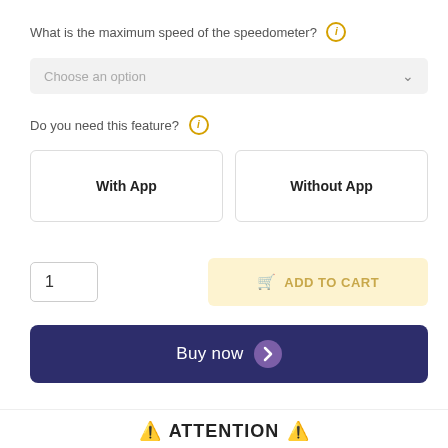What is the maximum speed of the speedometer? ℹ
Choose an option
Do you need this feature? ℹ
With App
Without App
1
ADD TO CART
Buy now
⚠ ATTENTION ⚠